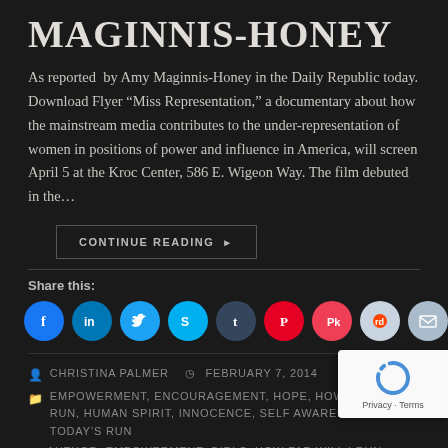MAGINNIS-HONEY
As reported by Amy Maginnis-Honey in the Daily Republic today. Download Flyer “Miss Representation,” a documentary about how the mainstream media contributes to the under-representation of women in positions of power and influence in America, will screen April 5 at the Kroc Center, 586 E. Wigeon Way. The film debuted in the…
CONTINUE READING ▶
Share this:
[Figure (infographic): Row of nine social media share icon circles: Facebook (blue), LinkedIn (blue), Twitter (light blue), Skype (cyan), Tumblr (dark navy), Pinterest (red), Pocket (red-pink), Reddit (light blue-grey), Email (grey)]
CHRISTINA PALMER   FEBRUARY 7, 2014
EMPOWERMENT, ENCOURAGEMENT, HOPE, HOW FAR WILL I RUN, HUMAN SPIRIT, INNOCENCE, SELF AWARENESS, TODAY’S RUN
AUTHOR, EMPOWERMENT, GIRLS, HOW FAR WILL I RUN,